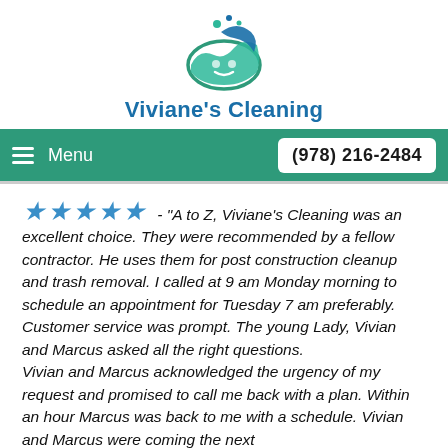[Figure (logo): Viviane's Cleaning logo: circular water/wave design with teal and blue colors, droplets above]
Viviane's Cleaning
Menu   (978) 216-2484
★★★★★ - "A to Z, Viviane's Cleaning was an excellent choice. They were recommended by a fellow contractor. He uses them for post construction cleanup and trash removal. I called at 9 am Monday morning to schedule an appointment for Tuesday 7 am preferably. Customer service was prompt. The young Lady, Vivian and Marcus asked all the right questions. Vivian and Marcus acknowledged the urgency of my request and promised to call me back with a plan. Within an hour Marcus was back to me with a schedule. Vivian and Marcus were coming the next